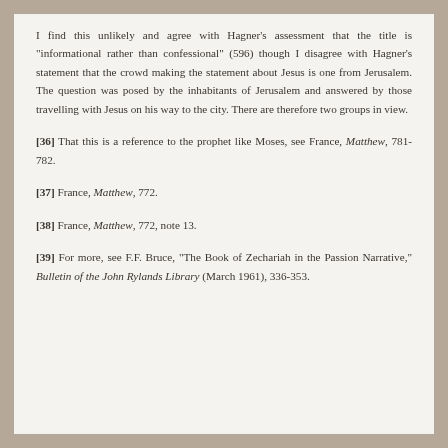I find this unlikely and agree with Hagner's assessment that the title is "informational rather than confessional" (596) though I disagree with Hagner's statement that the crowd making the statement about Jesus is one from Jerusalem. The question was posed by the inhabitants of Jerusalem and answered by those travelling with Jesus on his way to the city. There are therefore two groups in view.
[36] That this is a reference to the prophet like Moses, see France, Matthew, 781-782.
[37] France, Matthew, 772.
[38] France, Matthew, 772, note 13.
[39] For more, see F.F. Bruce, "The Book of Zechariah in the Passion Narrative," Bulletin of the John Rylands Library (March 1961), 336-353.